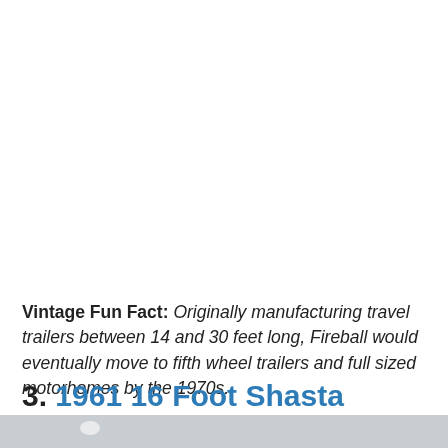Vintage Fun Fact: Originally manufacturing travel trailers between 14 and 30 feet long, Fireball would eventually move to fifth wheel trailers and full sized motorhomes by the 1970s.
3. 1961 16 Foot Shasta Airflyte
[Figure (photo): Partial photo strip at bottom of page, gray background with subtle lighter circle/highlight]